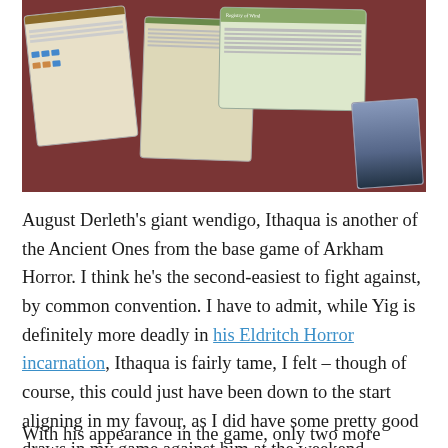[Figure (photo): Photograph of board game cards laid out on a dark red surface, showing multiple Arkham Horror game cards with text and illustrations]
August Derleth's giant wendigo, Ithaqua is another of the Ancient Ones from the base game of Arkham Horror. I think he's the second-easiest to fight against, by common convention. I have to admit, while Yig is definitely more deadly in his Eldritch Horror incarnation, Ithaqua is fairly tame, I felt – though of course, this could just have been down to the start aligning in my favour, as I did have some pretty good draws in my game against him at the weekend.
With his appearance in the game, only two more